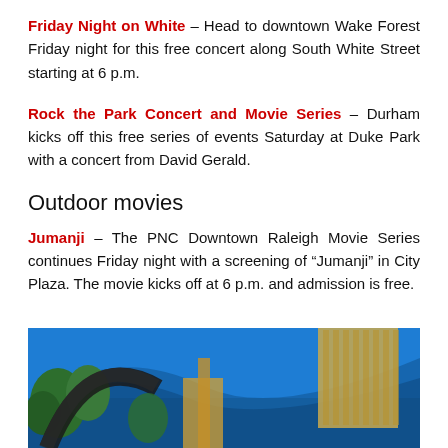Friday Night on White – Head to downtown Wake Forest Friday night for this free concert along South White Street starting at 6 p.m.
Rock the Park Concert and Movie Series – Durham kicks off this free series of events Saturday at Duke Park with a concert from David Gerald.
Outdoor movies
Jumanji – The PNC Downtown Raleigh Movie Series continues Friday night with a screening of “Jumanji” in City Plaza. The movie kicks off at 6 p.m. and admission is free.
[Figure (photo): Outdoor photo showing trees and a tall building against a blue sky, related to City Plaza or an outdoor movie venue.]